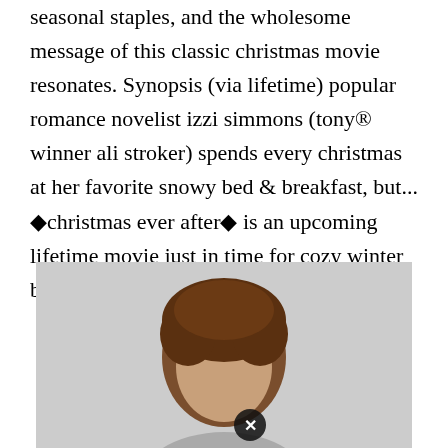seasonal staples, and the wholesome message of this classic christmas movie resonates. Synopsis (via lifetime) popular romance novelist izzi simmons (tony® winner ali stroker) spends every christmas at her favorite snowy bed & breakfast, but... ◆christmas ever after◆ is an upcoming lifetime movie just in time for cozy winter breaks.
[Figure (photo): Photo of a person with brown curly hair against a light grey background, with a circular close/X button overlay near the bottom center]